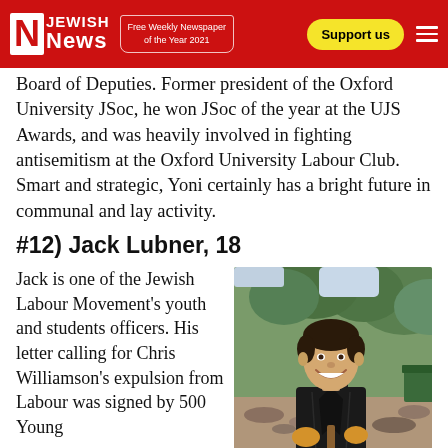Jewish News — Free Weekly Newspaper of the Year 2021 — Support us
Board of Deputies. Former president of the Oxford University JSoc, he won JSoc of the year at the UJS Awards, and was heavily involved in fighting antisemitism at the Oxford University Labour Club. Smart and strategic, Yoni certainly has a bright future in communal and lay activity.
#12) Jack Lubner, 18
Jack is one of the Jewish Labour Movement's youth and students officers. His letter calling for Chris Williamson's expulsion from Labour was signed by 500 Young
[Figure (photo): Young man smiling outdoors, wearing a black jacket, holding a tool, at a construction/volunteer site with trees and rubble in background.]